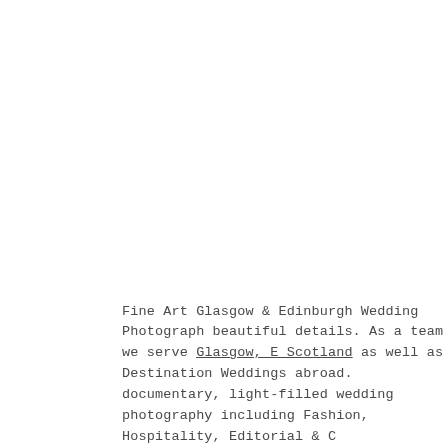Fine Art Glasgow & Edinburgh Wedding Photography beautiful details. As a team we serve Glasgow, E Scotland as well as Destination Weddings abroad. documentary, light-filled wedding photography including Fashion, Hospitality, Editorial & C